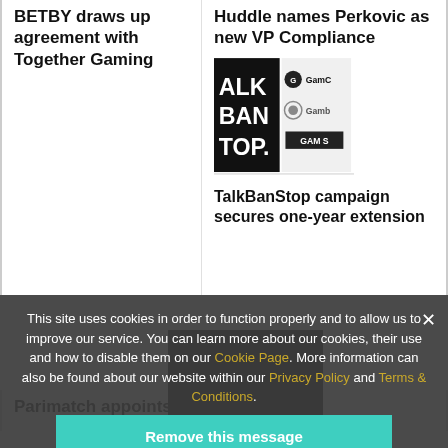BETBY draws up agreement with Together Gaming
Huddle names Perkovic as new VP Compliance
[Figure (logo): TalkBanStop campaign logo showing ALK BAN TOP text with GamCare, Gamban, and GAMSTOP logos]
TalkBanStop campaign secures one-year extension
This site uses cookies in order to function properly and to allow us to improve our service. You can learn more about our cookies, their use and how to disable them on our Cookie Page. More information can also be found about our website within our Privacy Policy and Terms & Conditions.
Remove this message
Parimatch appoints